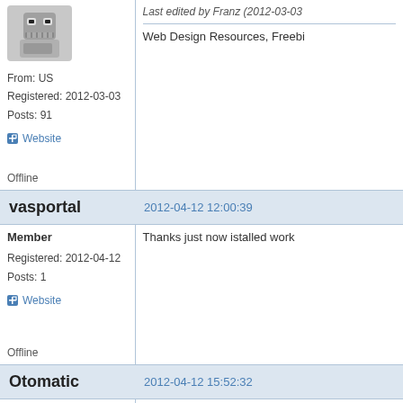[Figure (photo): Avatar image of a robot character (Futurama Bender)]
From: US
Registered: 2012-03-03
Posts: 91
Website
Offline
Last edited by Franz (2012-03-03
Web Design Resources, Freebi
vasportal
2012-04-12 12:00:39
Member
Registered: 2012-04-12
Posts: 1
Website
Offline
Thanks just now istalled work
Otomatic
2012-04-12 15:52:32
FluxBB Donor
From: Paris - France
@vasportal
SPAM It is only adds, no foru